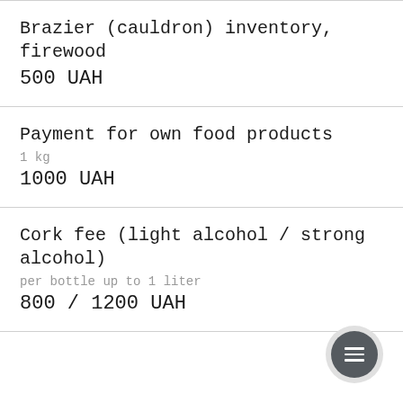Brazier (cauldron) inventory, firewood
500 UAH
Payment for own food products
1 kg
1000 UAH
Cork fee (light alcohol / strong alcohol)
per bottle up to 1 liter
800 / 1200 UAH